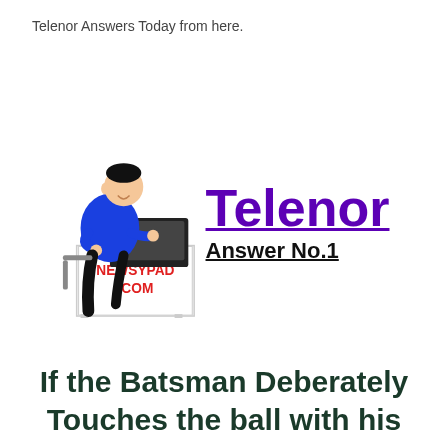Telenor Answers Today from here.
[Figure (logo): Newsypad.com Telenor Answer No.1 logo with cartoon illustration of a person working on a laptop at a desk with NEWSYPAD.COM text on the desk panel, and large purple bold 'Telenor' text with underlined 'Answer No.1' beside it.]
If the Batsman Deberately Touches the ball with his